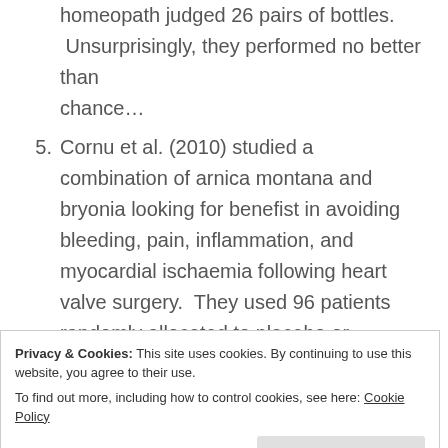(continuation) homeopath judged 26 pairs of bottles. Unsurprisingly, they performed no better than chance…
5. Cornu et al. (2010) studied a combination of arnica montana and bryonia looking for benefist in avoiding bleeding, pain, inflammation, and myocardial ischaemia following heart valve surgery. They used 96 patients randomly allocated to placebo or homeopathy. Sure enough, there was no difference between the two treatments.
6. Berrebi et al. (2001) studied the effects of bryony and apis mellifica on post-partum
Privacy & Cookies: This site uses cookies. By continuing to use this website, you agree to their use. To find out more, including how to control cookies, see here: Cookie Policy
Close and accept
difficult to interpret because few details are